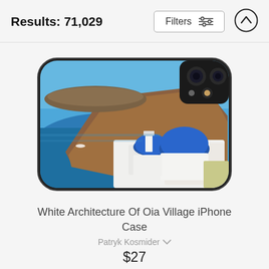Results: 71,029
[Figure (screenshot): Filters button with sliders icon and up-arrow scroll-to-top button]
[Figure (photo): iPhone case featuring White Architecture of Oia Village, Santorini — white buildings with blue domes overlooking the sea, shown on a smartphone case]
White Architecture Of Oia Village iPhone Case
Patryk Kosmider
$27